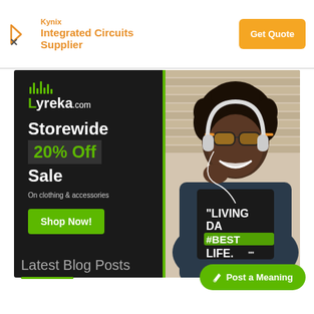[Figure (illustration): Kynix Integrated Circuits Supplier advertisement banner with orange logo and Get Quote button]
[Figure (illustration): Lyreka.com promotional banner on dark background with photo of smiling man wearing headphones and sunglasses. Text: Storewide 20% Off Sale on clothing & accessories with Shop Now button]
Latest Blog Posts
Post a Meaning